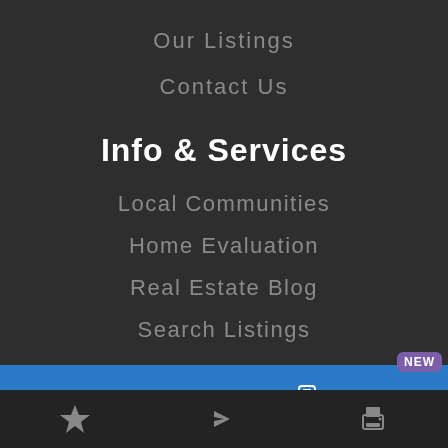Our Listings
Contact Us
Info & Services
Local Communities
Home Evaluation
Real Estate Blog
Search Listings
NEW
Ask about Property
Video Tour